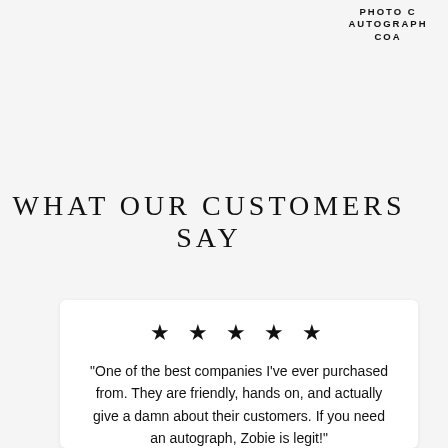PHOTO C AUTOGRAPH COA
WHAT OUR CUSTOMERS SAY
★ ★ ★ ★ ★
"One of the best companies I've ever purchased from. They are friendly, hands on, and actually give a damn about their customers. If you need an autograph, Zobie is legit!"